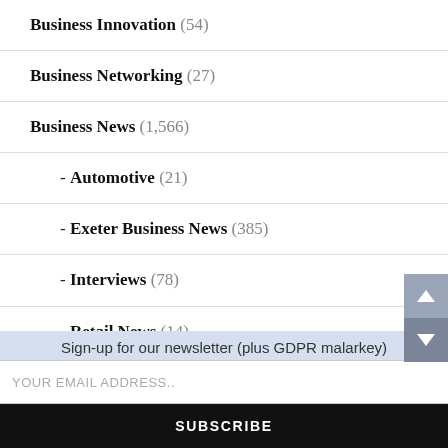Business Innovation (54)
Business Networking (27)
Business News (1,566)
- Automotive (21)
- Exeter Business News (385)
- Interviews (78)
- Retail News (14)
Sport (10)
Sign-up for our newsletter (plus GDPR malarkey)
YOUR EMAIL ADDRESS..
SUBSCRIBE